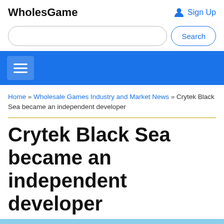WholesGame
Sign Up
Search
Home » Wholesale Games Industry and Market News » Crytek Black Sea became an independent developer
Crytek Black Sea became an independent developer
[Figure (photo): Exterior of a modern curved glass office building with trees and blue sky visible]